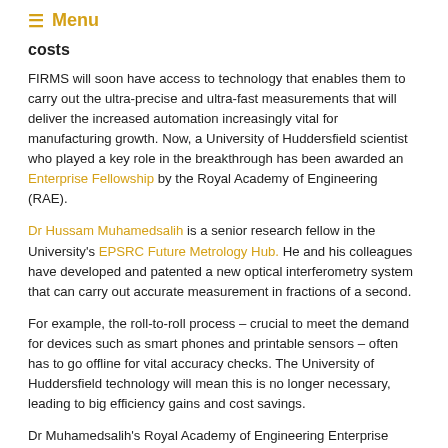≡ Menu
costs
FIRMS will soon have access to technology that enables them to carry out the ultra-precise and ultra-fast measurements that will deliver the increased automation increasingly vital for manufacturing growth. Now, a University of Huddersfield scientist who played a key role in the breakthrough has been awarded an Enterprise Fellowship by the Royal Academy of Engineering (RAE).
Dr Hussam Muhamedsalih is a senior research fellow in the University's EPSRC Future Metrology Hub. He and his colleagues have developed and patented a new optical interferometry system that can carry out accurate measurement in fractions of a second.
For example, the roll-to-roll process – crucial to meet the demand for devices such as smart phones and printable sensors – often has to go offline for vital accuracy checks. The University of Huddersfield technology will mean this is no longer necessary, leading to big efficiency gains and cost savings.
Dr Muhamedsalih's Royal Academy of Engineering Enterprise